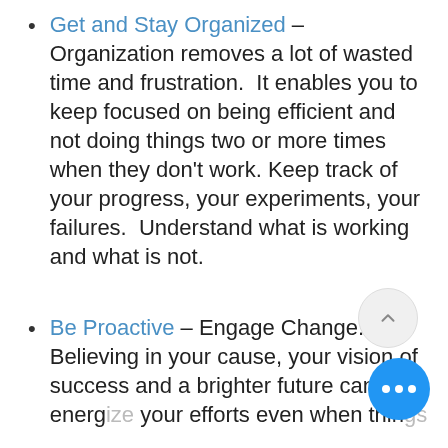Get and Stay Organized – Organization removes a lot of wasted time and frustration. It enables you to keep focused on being efficient and not doing things two or more times when they don't work. Keep track of your progress, your experiments, your failures. Understand what is working and what is not.
Be Proactive – Engage Change. Believing in your cause, your vision of success and a brighter future can energize your efforts even when things...